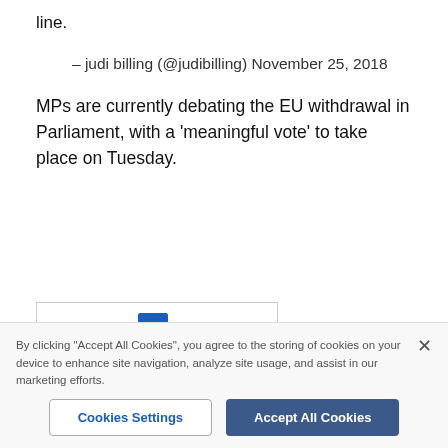line.
– judi billing (@judibilling) November 25, 2018
MPs are currently debating the EU withdrawal in Parliament, with a 'meaningful vote' to take place on Tuesday.
[Figure (other): Comments section icon (speech bubble) with label 'Comments' in blue, inside a bordered box]
By clicking "Accept All Cookies", you agree to the storing of cookies on your device to enhance site navigation, analyze site usage, and assist in our marketing efforts.
Cookies Settings
Accept All Cookies